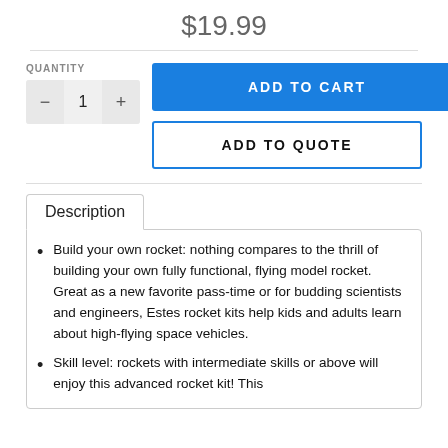$19.99
QUANTITY
ADD TO CART
ADD TO QUOTE
Description
Build your own rocket: nothing compares to the thrill of building your own fully functional, flying model rocket. Great as a new favorite pass-time or for budding scientists and engineers, Estes rocket kits help kids and adults learn about high-flying space vehicles.
Skill level: rockets with intermediate skills or above will enjoy this advanced rocket kit! This